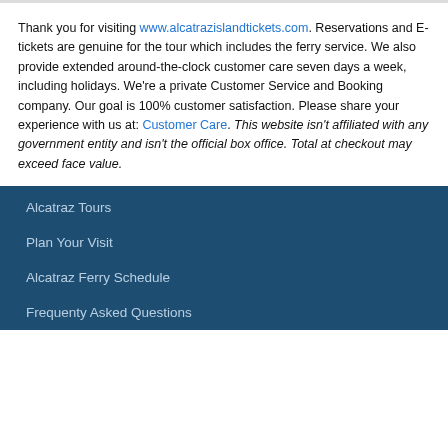Thank you for visiting www.alcatrazislandtickets.com. Reservations and E-tickets are genuine for the tour which includes the ferry service. We also provide extended around-the-clock customer care seven days a week, including holidays. We're a private Customer Service and Booking company. Our goal is 100% customer satisfaction. Please share your experience with us at: Customer Care. This website isn't affiliated with any government entity and isn't the official box office. Total at checkout may exceed face value.
Alcatraz Tours
Plan Your Visit
Alcatraz Ferry Schedule
Frequenty Asked Questions